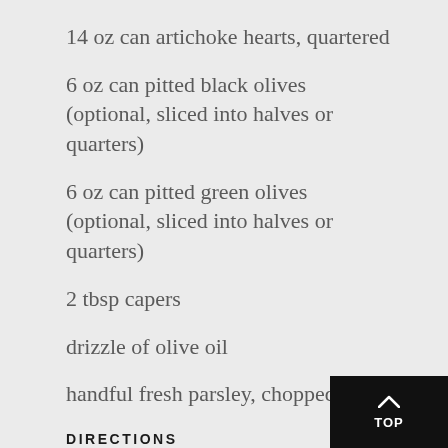14 oz can artichoke hearts, quartered
6 oz can pitted black olives (optional, sliced into halves or quarters)
6 oz can pitted green olives (optional, sliced into halves or quarters)
2 tbsp capers
drizzle of olive oil
handful fresh parsley, chopped
DIRECTIONS
In a 9x13” ceramic baking dish, place sal… down and sprinkle with salt and pepper.